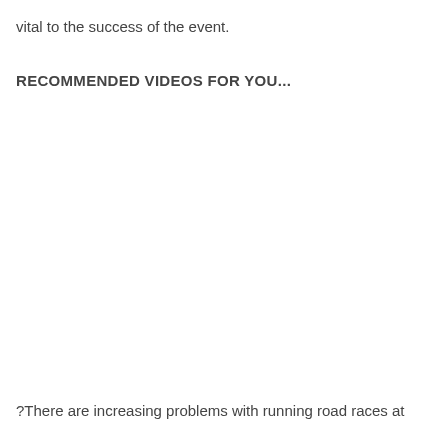vital to the success of the event.
RECOMMENDED VIDEOS FOR YOU...
?There are increasing problems with running road races at